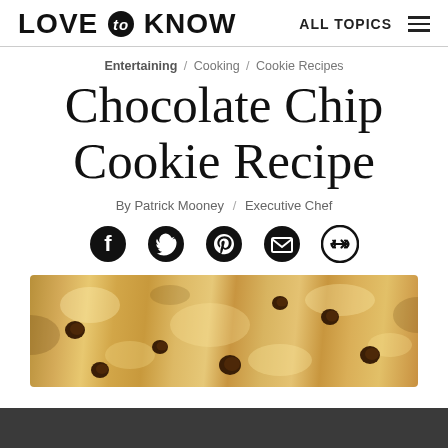LOVE to KNOW   ALL TOPICS
Entertaining / Cooking / Cookie Recipes
Chocolate Chip Cookie Recipe
By Patrick Mooney / Executive Chef
[Figure (illustration): Social share icons: Facebook, Twitter, Pinterest, Email, Link]
[Figure (photo): Close-up photo of chocolate chip cookies with visible chocolate chips on golden brown cookie surface]